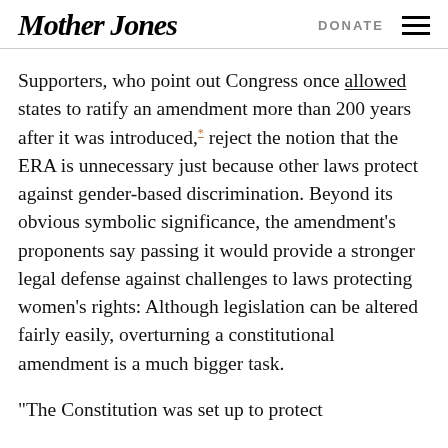Mother Jones | DONATE
Supporters, who point out Congress once allowed states to ratify an amendment more than 200 years after it was introduced,* reject the notion that the ERA is unnecessary just because other laws protect against gender-based discrimination. Beyond its obvious symbolic significance, the amendment's proponents say passing it would provide a stronger legal defense against challenges to laws protecting women's rights: Although legislation can be altered fairly easily, overturning a constitutional amendment is a much bigger task.
“The Constitution was set up to protect fundamental rights,” ...